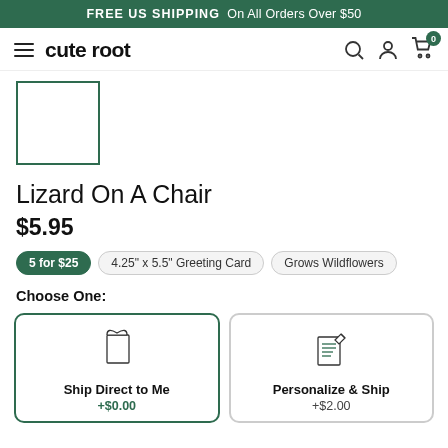FREE US SHIPPING On All Orders Over $50
cute root
[Figure (illustration): Product image placeholder — green outlined rectangle/card shape]
Lizard On A Chair
$5.95
5 for $25 | 4.25" x 5.5" Greeting Card | Grows Wildflowers
Choose One:
[Figure (illustration): Card/envelope icon for Ship Direct to Me option]
Ship Direct to Me
+$0.00
[Figure (illustration): Personalized letter/writing icon for Personalize & Ship option]
Personalize & Ship
+$2.00